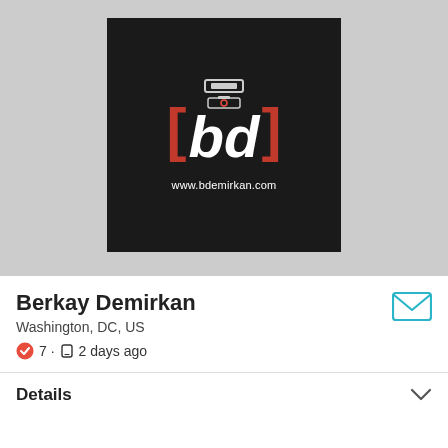[Figure (logo): Black square logo with red brackets '[' and ']' flanking 'bd' letters in white italic, with small icons above, and 'www.bdemirkan.com' text below. Set on a gray background.]
Berkay Demirkan
Washington, DC, US
7 · 2 days ago
Details